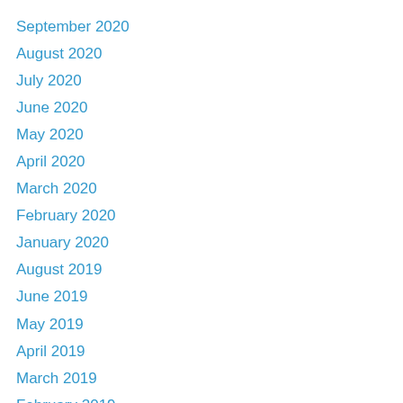September 2020
August 2020
July 2020
June 2020
May 2020
April 2020
March 2020
February 2020
January 2020
August 2019
June 2019
May 2019
April 2019
March 2019
February 2019
January 2019
December 2018
October 2018
August 2018
September 2017